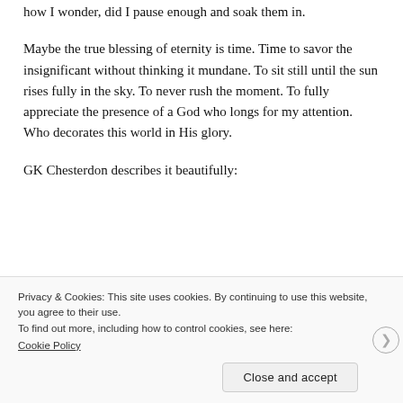how I wonder, did I pause enough and soak them in.
Maybe the true blessing of eternity is time. Time to savor the insignificant without thinking it mundane. To sit still until the sun rises fully in the sky. To never rush the moment. To fully appreciate the presence of a God who longs for my attention. Who decorates this world in His glory.
GK Chesterdon describes it beautifully:
“Because children have
[Figure (photo): Sky photo with gradient from dark blue-gray at top to warm golden/white light at bottom, suggesting a sunrise or sunset scene.]
Privacy & Cookies: This site uses cookies. By continuing to use this website, you agree to their use.
To find out more, including how to control cookies, see here:
Cookie Policy
Close and accept